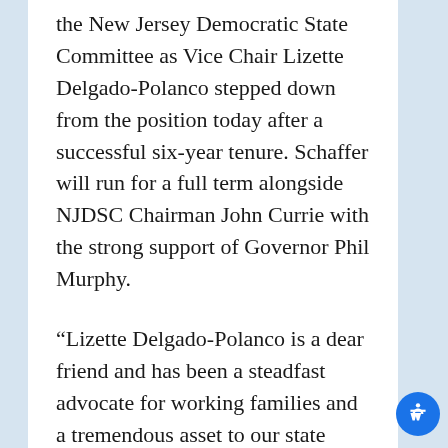the New Jersey Democratic State Committee as Vice Chair Lizette Delgado-Polanco stepped down from the position today after a successful six-year tenure. Schaffer will run for a full term alongside NJDSC Chairman John Currie with the strong support of Governor Phil Murphy.
“Lizette Delgado-Polanco is a dear friend and has been a steadfast advocate for working families and a tremendous asset to our state party. I’m certain that she will continue to fight for our communities.” said